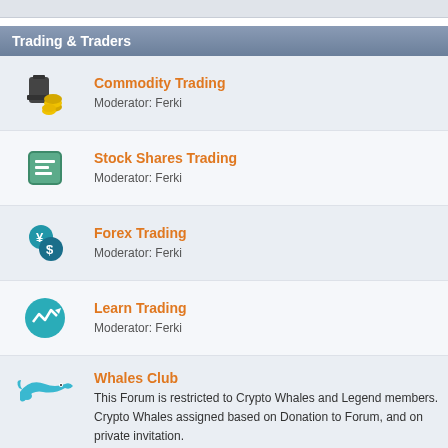Trading & Traders
Commodity Trading
Moderator: Ferki
Stock Shares Trading
Moderator: Ferki
Forex Trading
Moderator: Ferki
Learn Trading
Moderator: Ferki
Whales Club
This Forum is restricted to Crypto Whales and Legend members. Crypto Whales assigned based on Donation to Forum, and on private invitation.
Further Discussions
General Discussion
Feel free to talk about anything and everything in this board.